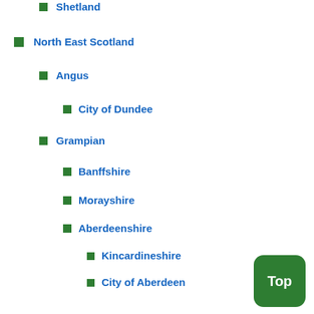Shetland
North East Scotland
Angus
City of Dundee
Grampian
Banffshire
Morayshire
Aberdeenshire
Kincardineshire
City of Aberdeen
Perth & Kinross
Kinross-shire
Perthshire
Southern Scotland
Ayrshire
North Ayrshire